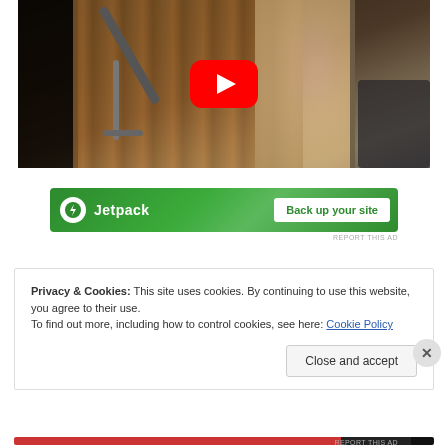[Figure (screenshot): YouTube video thumbnail showing gym/exercise equipment with a red YouTube play button in the center. Dark background with wooden door and gym machinery visible.]
[Figure (screenshot): Jetpack advertisement banner in green with white circular lightning bolt icon, 'Jetpack' text, and 'Back up your site' button on white background.]
REPORT THIS AD
Privacy & Cookies: This site uses cookies. By continuing to use this website, you agree to their use.
To find out more, including how to control cookies, see here: Cookie Policy
Close and accept